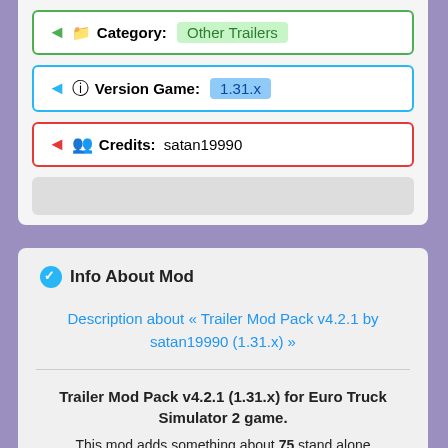Category: Other Trailers
Version Game: 1.31.x
Credits: satan19990
Info About Mod
Description about « Trailer Mod Pack v4.2.1 by satan19990 (1.31.x) »
Trailer Mod Pack v4.2.1 (1.31.x) for Euro Truck Simulator 2 game.
This mod adds something about 75 stand alone